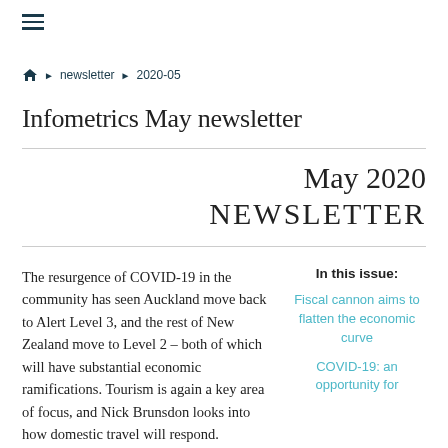≡
🏠 ▶ newsletter ▶ 2020-05
Infometrics May newsletter
May 2020
NEWSLETTER
The resurgence of COVID-19 in the community has seen Auckland move back to Alert Level 3, and the rest of New Zealand move to Level 2 – both of which will have substantial economic ramifications. Tourism is again a key area of focus, and Nick Brunsdon looks into how domestic travel will respond.
In this issue:
Fiscal cannon aims to flatten the economic curve
COVID-19: an opportunity for